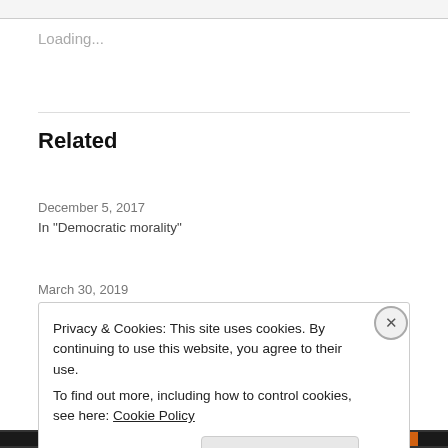Loading...
Related
Yeah, We Knew That
December 5, 2017
In "Democratic morality"
Doesn't Arizona Have Locusts?
March 30, 2019
Privacy & Cookies: This site uses cookies. By continuing to use this website, you agree to their use.
To find out more, including how to control cookies, see here: Cookie Policy
Close and accept